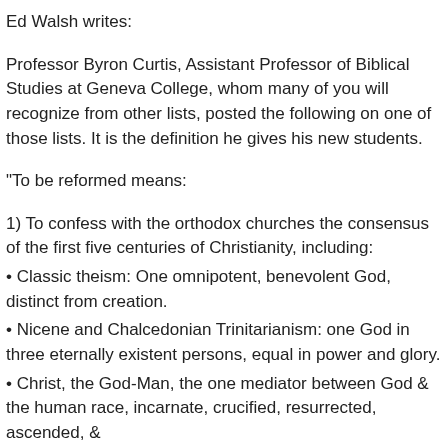Ed Walsh writes:
Professor Byron Curtis, Assistant Professor of Biblical Studies at Geneva College, whom many of you will recognize from other lists, posted the following on one of those lists. It is the definition he gives his new students.
"To be reformed means:
1) To confess with the orthodox churches the consensus of the first five centuries of Christianity, including:
• Classic theism: One omnipotent, benevolent God, distinct from creation.
• Nicene and Chalcedonian Trinitarianism: one God in three eternally existent persons, equal in power and glory.
• Christ, the God-Man, the one mediator between God & the human race, incarnate, crucified, resurrected, ascended, &